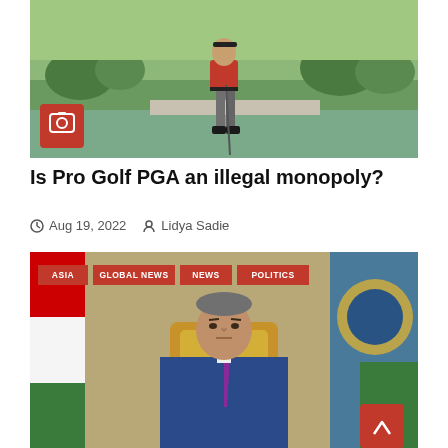[Figure (photo): Golfer in red shirt and grey trousers holding a golf club, standing on a golf course near water, with a camera icon badge in the lower left corner of the image]
Is Pro Golf PGA an illegal monopoly?
Aug 19, 2022   Lidya Sadie
[Figure (photo): Middle-aged man in blue suit and purple tie seated in an ornate golden chair, with flags in the background. Tags overlaid: ASIA, GLOBAL NEWS, NEWS, POLITICS]